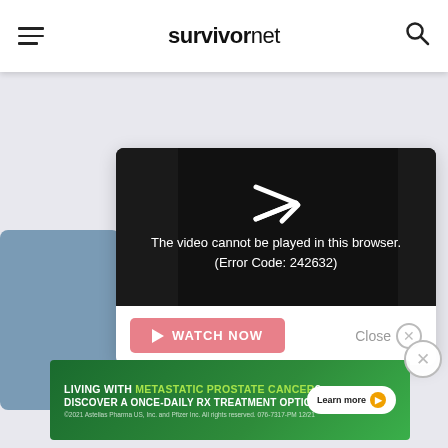survivornet
[Figure (screenshot): Video player error screen on black background showing a play arrow icon and text: The video cannot be played in this browser. (Error Code: 242632)]
The video cannot be played in this browser. (Error Code: 242632)
WATCH NOW
Close
[Figure (photo): Partial background photo visible on left side, showing a blurred blue-gray medical image]
LIVING WITH METASTATIC PROSTATE CANCER? DISCOVER A ONCE-DAILY Rx TREATMENT OPTION.
©2021 Astellas Pharma US, Inc. and Pfizer Inc. All rights reserved. 076-7317-PM 12/21